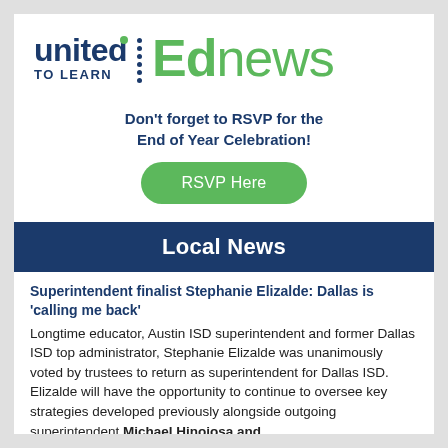[Figure (logo): United To Learn EdNews logo — 'united' in dark blue bold, 'TO LEARN' in dark blue caps, dotted divider, 'Ed' in green bold large, 'news' in green regular large]
Don't forget to RSVP for the End of Year Celebration!
RSVP Here
Local News
Superintendent finalist Stephanie Elizalde: Dallas is 'calling me back'
Longtime educator, Austin ISD superintendent and former Dallas ISD top administrator, Stephanie Elizalde was unanimously voted by trustees to return as superintendent for Dallas ISD. Elizalde will have the opportunity to continue to oversee key strategies developed previously alongside outgoing superintendent Michael Hinojosa and